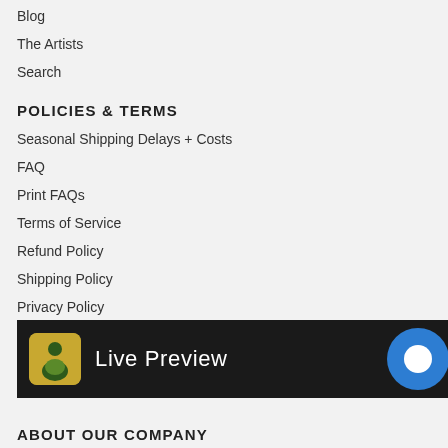Blog
The Artists
Search
POLICIES & TERMS
Seasonal Shipping Delays + Costs
FAQ
Print FAQs
Terms of Service
Refund Policy
Shipping Policy
Privacy Policy
Copyright
Do not sell my personal information
Wh...
[Figure (screenshot): Live Preview bar with icon and chat bubble at bottom of page]
ABOUT OUR COMPANY